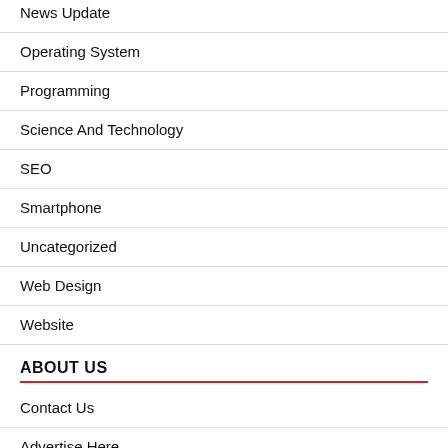News Update
Operating System
Programming
Science And Technology
SEO
Smartphone
Uncategorized
Web Design
Website
ABOUT US
Contact Us
Advertise Here
Disclosure Policy